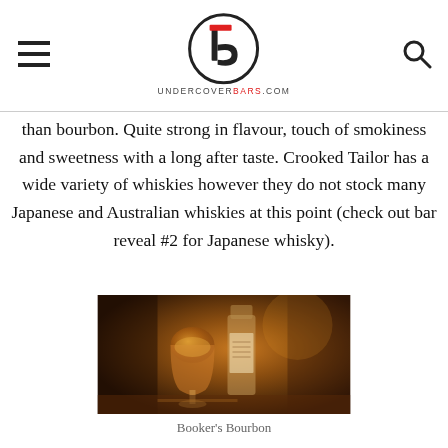UNDERCOVERBARS.COM
than bourbon. Quite strong in flavour, touch of smokiness and sweetness with a long after taste. Crooked Tailor has a wide variety of whiskies however they do not stock many Japanese and Australian whiskies at this point (check out bar reveal #2 for Japanese whisky).
[Figure (photo): A whisky glass (Glencairn style) with amber liquid next to a bottle of Booker's Bourbon on a bar counter, warm amber tones, dark background.]
Booker's Bourbon
Crooked Tailor has a relaxed atmosphere; you'll be